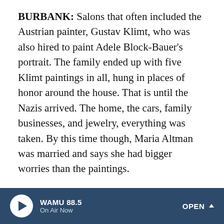BURBANK: Salons that often included the Austrian painter, Gustav Klimt, who was also hired to paint Adele Block-Bauer's portrait. The family ended up with five Klimt paintings in all, hung in places of honor around the house. That is until the Nazis arrived. The home, the cars, family businesses, and jewelry, everything was taken. By this time though, Maria Altman was married and says she had bigger worries than the paintings.
Ms. ALTMAN: When Hitler was there and my husband was sent to the concentration camp, I mean, I couldn't care less about artwork. So then I had lost total contact with it.
BURBANK: The family ended up in the U.S. and Canada, the paintings in Austria's National Gallery, where they've
WAMU 88.5 On Air Now OPEN